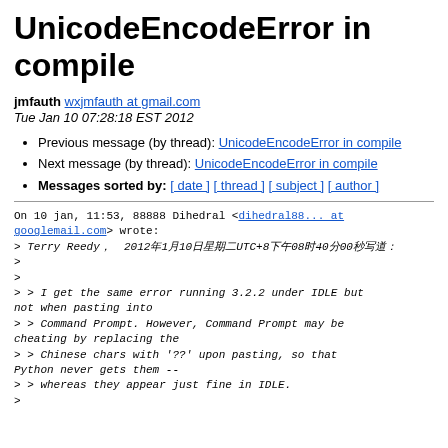UnicodeEncodeError in compile
jmfauth wxjmfauth at gmail.com
Tue Jan 10 07:28:18 EST 2012
Previous message (by thread): UnicodeEncodeError in compile
Next message (by thread): UnicodeEncodeError in compile
Messages sorted by: [ date ] [ thread ] [ subject ] [ author ]
On 10 jan, 11:53, 88888 Dihedral <dihedral88... at googlemail.com> wrote:
> Terry Reedy， 2012年1月10日星期二UTC+8下午08时40分00秒写道：
>
>
> > I get the same error running 3.2.2 under IDLE but not when pasting into
> > Command Prompt. However, Command Prompt may be cheating by replacing the
> > Chinese chars with '??' upon pasting, so that Python never gets them --
> > whereas they appear just fine in IDLE.
>